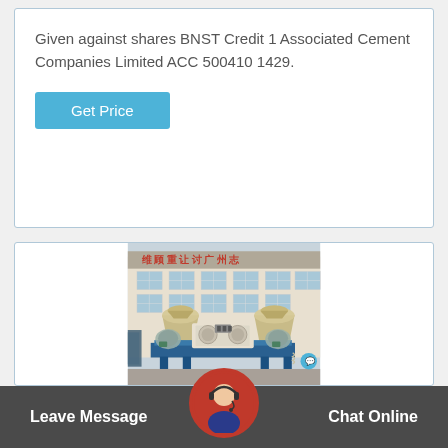Given against shares BNST Credit 1 Associated Cement Companies Limited ACC 500410 1429.
Get Price
[Figure (photo): Industrial machinery — cone crushers and belt conveyors parked outside a factory building with Chinese characters on the facade. Machines are cream/yellow colored with blue metal bases. Some components are covered with protective grey wrap.]
Leave Message
Chat Online